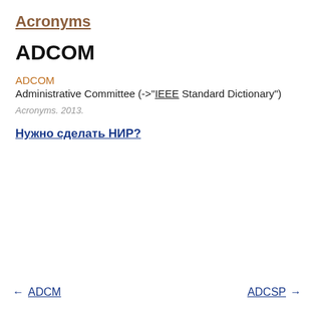Acronyms
ADCOM
ADCOM
Administrative Committee (->"IEEE Standard Dictionary")
Acronyms. 2013.
Нужно сделать НИР?
← ADCM    ADCSP →